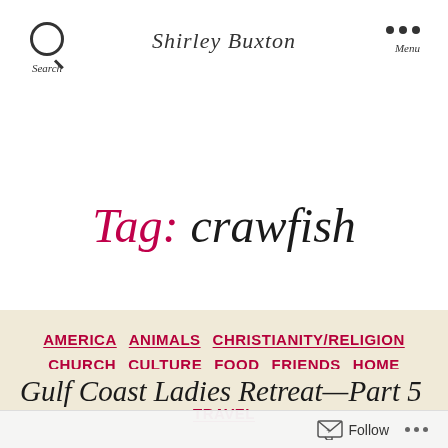Shirley Buxton
Tag: crawfish
AMERICA  ANIMALS  CHRISTIANITY/RELIGION  CHURCH  CULTURE  FOOD  FRIENDS  HOME  LIFE  PENTECOSTAL  PHOTOGRAPHY  SOCIAL  TRAVEL
Gulf Coast Ladies Retreat—Part 5